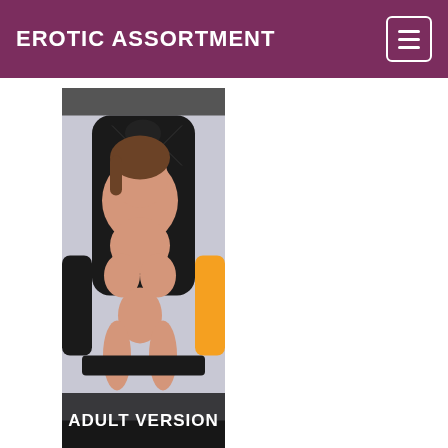EROTIC ASSORTMENT
[Figure (photo): Adult content photo of a woman sitting in a gaming chair, partially visible. Bottom portion has a dark overlay with text 'ADULT VERSION'.]
ADULT VERSION